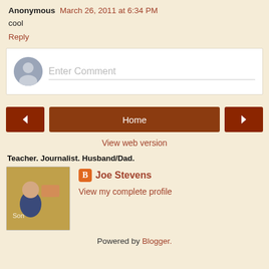Anonymous March 26, 2011 at 6:34 PM
cool
Reply
[Figure (other): Enter Comment text input box with user avatar icon]
[Figure (other): Navigation buttons: left arrow, Home, right arrow]
View web version
Teacher. Journalist. Husband/Dad.
[Figure (photo): Profile photo of Joe Stevens in front of colorful mural]
Joe Stevens
View my complete profile
Powered by Blogger.